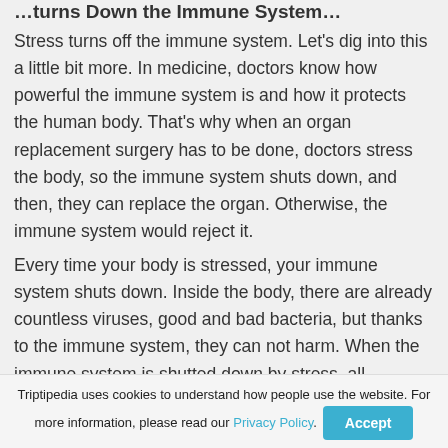…turns Down the Immune System…
Stress turns off the immune system. Let's dig into this a little bit more. In medicine, doctors know how powerful the immune system is and how it protects the human body. That's why when an organ replacement surgery has to be done, doctors stress the body, so the immune system shuts down, and then, they can replace the organ. Otherwise, the immune system would reject it.
Every time your body is stressed, your immune system shuts down. Inside the body, there are already countless viruses, good and bad bacteria, but thanks to the immune system, they can not harm. When the immune system is shutted down by stress, all bacterias and bad viruses already in
Triptipedia uses cookies to understand how people use the website. For more information, please read our Privacy Policy. Accept